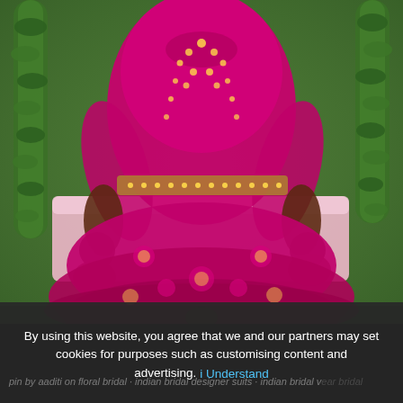[Figure (photo): A bride wearing a bright magenta/pink heavily embroidered and sequined Indian bridal outfit (sharara/gharara) with intricate henna (mehndi) on her arms and hands, seated on a pink platform against a green grass backdrop with green leaf garlands hanging on either side.]
By using this website, you agree that we and our partners may set cookies for purposes such as customising content and advertising. Understand
pin by aaditi on floral bridal indian designer suits · indian bridal wear bridal